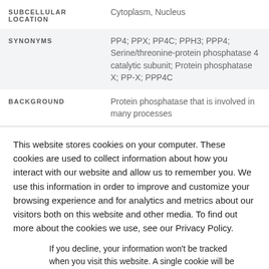| SUBCELLULAR LOCATION | Cytoplasm, Nucleus |
| SYNONYMS | PP4; PPX; PP4C; PPH3; PPP4; Serine/threonine-protein phosphatase 4 catalytic subunit; Protein phosphatase X; PP-X; PPP4C |
| BACKGROUND | Protein phosphatase that is involved in many processes |
This website stores cookies on your computer. These cookies are used to collect information about how you interact with our website and allow us to remember you. We use this information in order to improve and customize your browsing experience and for analytics and metrics about our visitors both on this website and other media. To find out more about the cookies we use, see our Privacy Policy.
If you decline, your information won't be tracked when you visit this website. A single cookie will be used in your browser to remember your preference not to be tracked.